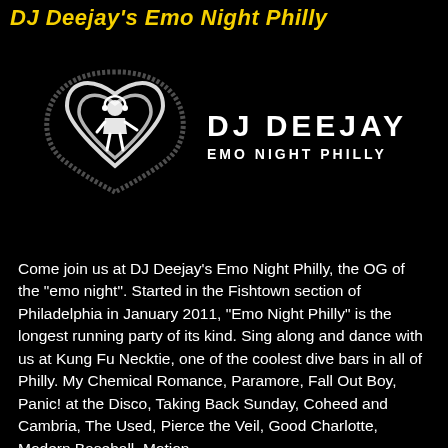DJ Deejay's Emo Night Philly
[Figure (logo): DJ Deejay Emo Night Philly logo: a white heart outline with a DJ figure inside, next to text reading 'DJ DEEJAY EMO NIGHT PHILLY' in bold white letters]
Come join us at DJ Deejay's Emo Night Philly, the OG of the "emo night". Started in the Fishtown section of Philadelphia in January 2011, "Emo Night Philly" is the longest running party of its kind. Sing along and dance with us at Kung Fu Necktie, one of the coolest dive bars in all of Philly. My Chemical Romance, Paramore, Fall Out Boy, Panic! at the Disco, Taking Back Sunday, Coheed and Cambria, The Used, Pierce the Veil, Good Charlotte, Modern Baseball, Motion